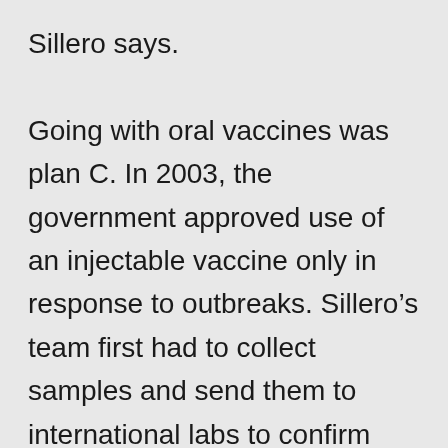Sillero says. Going with oral vaccines was plan C. In 2003, the government approved use of an injectable vaccine only in response to outbreaks. Sillero's team first had to collect samples and send them to international labs to confirm that an outbreak was happening. The researchers were always behind. An oral option that